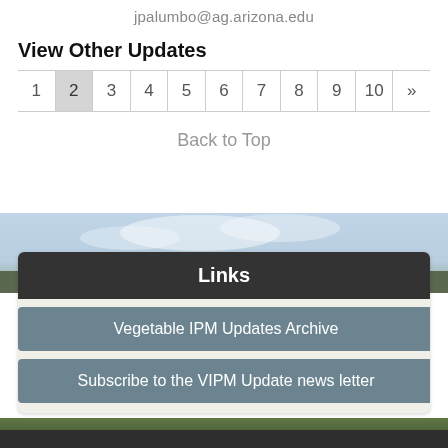jpalumbo@ag.arizona.edu
View Other Updates
1  2  3  4  5  6  7  8  9  10  »
Back to Top
[Figure (screenshot): Agricultural field/sky background image]
Links
Vegetable IPM Updates Archive
Subscribe to the VIPM Update news letter